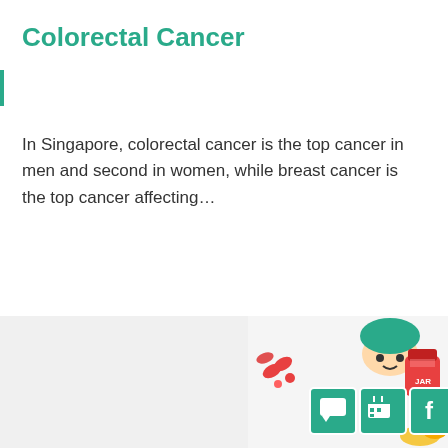Colorectal Cancer
In Singapore, colorectal cancer is the top cancer in men and second in women, while breast cancer is the top cancer affecting…
READ MORE
[Figure (illustration): Cartoon illustration of a person with medical/health items including pills, a red jar, and social media/navigation icons (chat, calendar, Facebook, up-arrow) in teal boxes at the bottom of the page.]